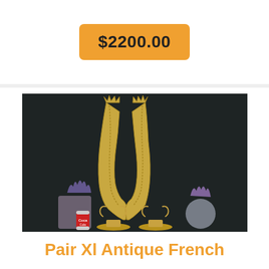$2200.00
[Figure (photo): Pair of large antique French golden horn-shaped vases on ornate brass stands, displayed against a dark background with plants and a Coca-Cola can for scale.]
Pair Xl Antique French